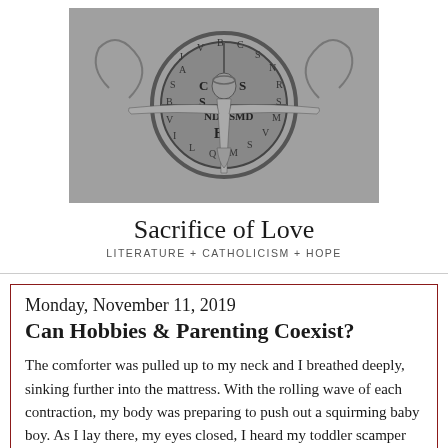[Figure (photo): Black and white photograph of a crucifix with the figure of Jesus Christ, arms outstretched, set against a large circular medallion with letters and symbols, possibly a Saint Benedict medal design.]
Sacrifice of Love
LITERATURE + CATHOLICISM + HOPE
Monday, November 11, 2019
Can Hobbies & Parenting Coexist?
The comforter was pulled up to my neck and I breathed deeply, sinking further into the mattress. With the rolling wave of each contraction, my body was preparing to push out a squirming baby boy. As I lay there, my eyes closed, I heard my toddler scamper into the bedroom.